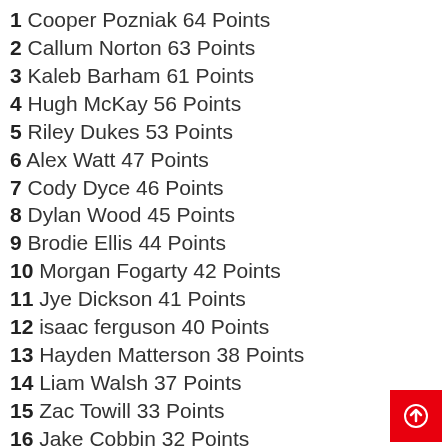1 Cooper Pozniak 64 Points
2 Callum Norton 63 Points
3 Kaleb Barham 61 Points
4 Hugh McKay 56 Points
5 Riley Dukes 53 Points
6 Alex Watt 47 Points
7 Cody Dyce 46 Points
8 Dylan Wood 45 Points
9 Brodie Ellis 44 Points
10 Morgan Fogarty 42 Points
11 Jye Dickson 41 Points
12 isaac ferguson 40 Points
13 Hayden Matterson 38 Points
14 Liam Walsh 37 Points
15 Zac Towill 33 Points
16 Jake Cobbin 32 Points
17 Nicholas Luksich 27 Points
18 Joel Phillips 27 Points
19 Ethan Burgess 22 Points
20 Riley Stephens 20 Points